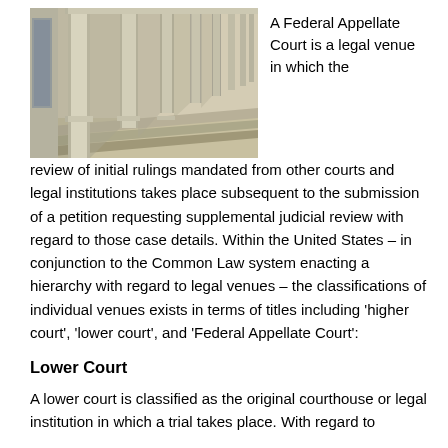[Figure (photo): Photo of a courthouse colonnade with classical stone columns and steps extending into the distance]
A Federal Appellate Court is a legal venue in which the review of initial rulings mandated from other courts and legal institutions takes place subsequent to the submission of a petition requesting supplemental judicial review with regard to those case details. Within the United States – in conjunction to the Common Law system enacting a hierarchy with regard to legal venues – the classifications of individual venues exists in terms of titles including 'higher court', 'lower court', and 'Federal Appellate Court':
Lower Court
A lower court is classified as the original courthouse or legal institution in which a trial takes place. With regard to